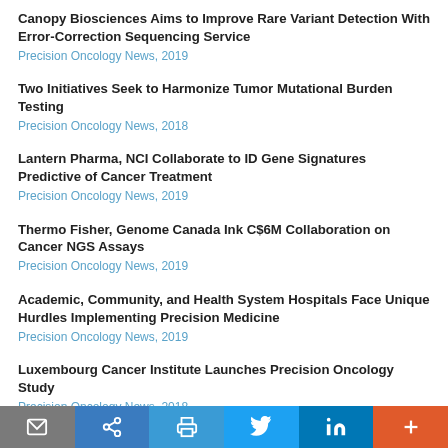Canopy Biosciences Aims to Improve Rare Variant Detection With Error-Correction Sequencing Service
Precision Oncology News, 2019
Two Initiatives Seek to Harmonize Tumor Mutational Burden Testing
Precision Oncology News, 2018
Lantern Pharma, NCI Collaborate to ID Gene Signatures Predictive of Cancer Treatment
Precision Oncology News, 2019
Thermo Fisher, Genome Canada Ink C$6M Collaboration on Cancer NGS Assays
Precision Oncology News, 2019
Academic, Community, and Health System Hospitals Face Unique Hurdles Implementing Precision Medicine
Precision Oncology News, 2019
Luxembourg Cancer Institute Launches Precision Oncology Study
Precision Oncology News, 2018
Triple-Negative Breast Cancer Risk Linked to Germline Variants in Several Cancer Genes
[Figure (other): Social sharing footer bar with icons: email (grey), share/link (blue), print (light blue), Twitter (blue), LinkedIn (blue), more/plus (orange-red)]